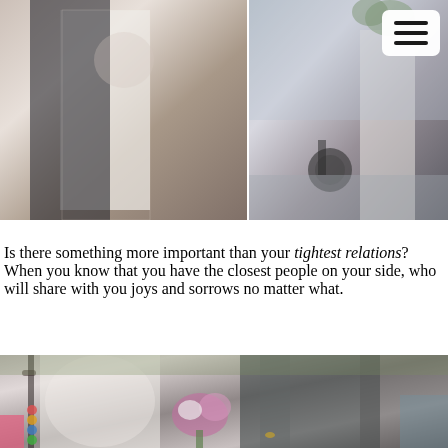[Figure (photo): Two wedding photos side by side: left shows a bride in a white lace dress with someone in black; right shows a person in a wheelchair beside a bride holding greenery, with a menu icon button in top right corner]
Is there something more important than your tightest relations? When you know that you have the closest people on your side, who will share with you joys and sorrows no matter what.
[Figure (photo): Close-up photo of wedding guests seated outdoors: a woman in a white lace outfit holding a small bouquet with a cane nearby, seated next to a man in a dark suit, with other guests in background]